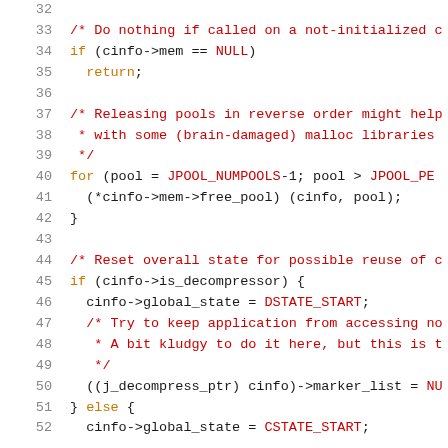Source code listing lines 32-52, C programming language code showing memory pool management and decompressor state reset logic.